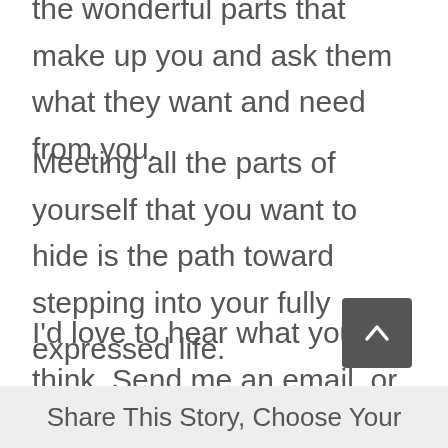the wonderful parts that make up you and ask them what they want and need from you.
Meeting all the parts of yourself that you want to hide is the path toward stepping into your fully expressed life.
I'd love to hear what you think. Send me an email, or comment below.
Share This Story, Choose Your